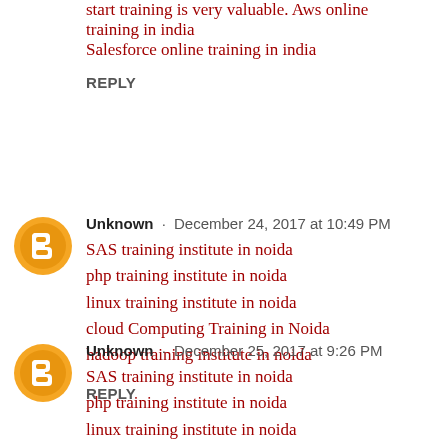start training is very valuable. Aws online training in india
Salesforce online training in india
REPLY
Unknown · December 24, 2017 at 10:49 PM
SAS training institute in noida
php training institute in noida
linux training institute in noida
cloud Computing Training in Noida
hadoop training institute in noida
REPLY
Unknown · December 25, 2017 at 9:26 PM
SAS training institute in noida
php training institute in noida
linux training institute in noida
cloud Computing Training in Noida
hadoop training institute in noida